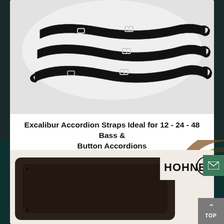[Figure (photo): Black leather accordion shoulder straps with silver buckles and adjusters, displayed on a light background]
Excalibur Accordion Straps Ideal for 12 - 24 - 48 Bass & Button Accordions
$54.00 $29.00
[Figure (photo): Dark brown accordion case or body panel with rounded corners and rivets, with Hohner logo and brand icon in the top right corner]
[Figure (logo): HOHNER brand logo with stylized figure icon]